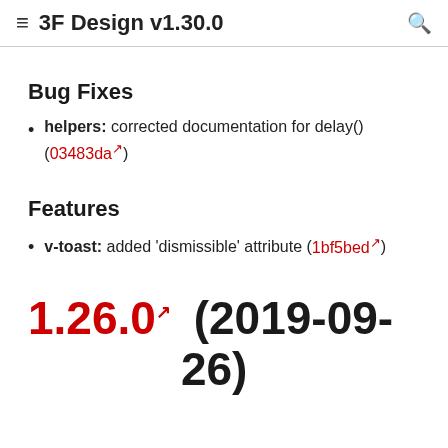≡  3F Design v1.30.0
Bug Fixes
helpers: corrected documentation for delay() (03483da↗)
Features
v-toast: added 'dismissible' attribute (1bf5bed↗)
1.26.0↗  (2019-09-26)